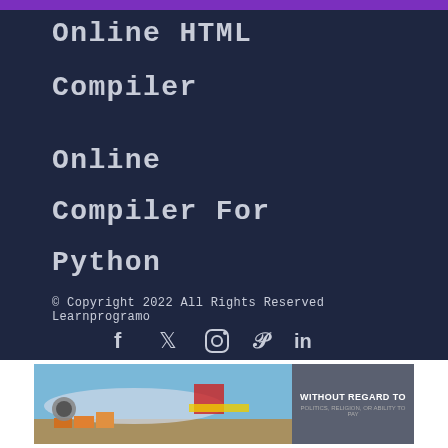Online HTML Compiler
Online Compiler For Python
© Copyright 2022 All Rights Reserved Learnprogramo
[Figure (infographic): Social media icons: Facebook (f), Twitter (bird), Instagram, Pinterest (P), LinkedIn (in)]
[Figure (photo): Advertisement banner showing an aircraft being loaded with cargo, with text 'WITHOUT REGARD TO' on the right side]